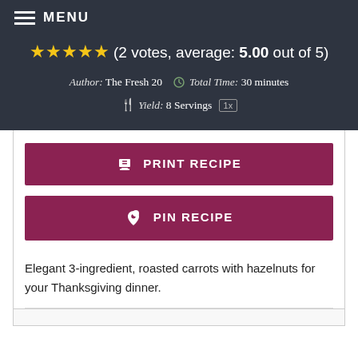MENU
★★★★★ (2 votes, average: 5.00 out of 5)
Author: The Fresh 20   Total Time: 30 minutes   Yield: 8 Servings 1x
PRINT RECIPE
PIN RECIPE
Elegant 3-ingredient, roasted carrots with hazelnuts for your Thanksgiving dinner.